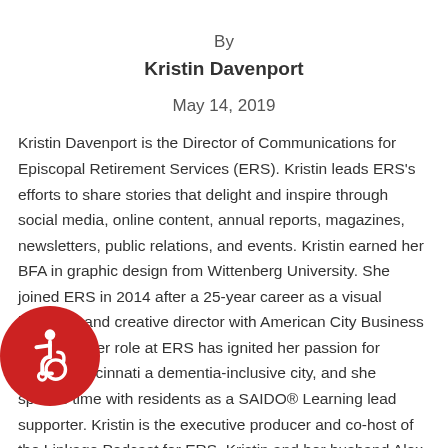By
Kristin Davenport
May 14, 2019
Kristin Davenport is the Director of Communications for Episcopal Retirement Services (ERS). Kristin leads ERS's efforts to share stories that delight and inspire through social media, online content, annual reports, magazines, newsletters, public relations, and events. Kristin earned her BFA in graphic design from Wittenberg University. She joined ERS in 2014 after a 25-year career as a visual journalist and creative director with American City Business Journals. Her role at ERS has ignited her passion for making Cincinnati a dementia-inclusive city, and she spends time with residents as a SAIDO® Learning lead supporter. Kristin is the executive producer and co-host of the Linkage Podcast for ERS. Kristin and her husband Alex live in Lebanon, Ohio, with their two daughters. She also serves as a Trustee and the President of the Lebanon Food Pantry and is a board member for ArtScape Lebanon, where she teaches painting and has
[Figure (illustration): Accessibility icon: white wheelchair user symbol on a red circle badge in bottom-left corner]